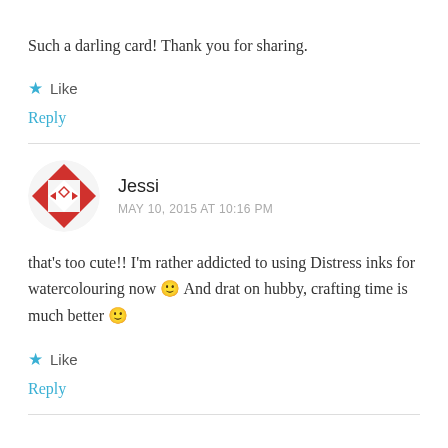Such a darling card! Thank you for sharing.
Like
Reply
Jessi
MAY 10, 2015 AT 10:16 PM
that's too cute!! I'm rather addicted to using Distress inks for watercolouring now 🙂 And drat on hubby, crafting time is much better 🙂
Like
Reply